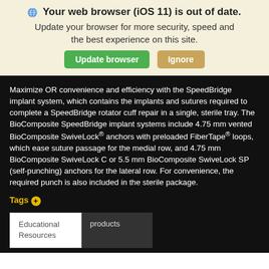Your web browser (iOS 11) is out of date. Update your browser for more security, speed and the best experience on this site. [Update browser] [Ignore]
Maximize OR convenience and efficiency with the SpeedBridge implant system, which contains the implants and sutures required to complete a SpeedBridge rotator cuff repair in a single, sterile tray. The BioComposite SpeedBridge implant systems include 4.75 mm vented BioComposite SwiveLock® anchors with preloaded FiberTape® loops, which ease suture passage for the medial row, and 4.75 mm BioComposite SwiveLock C or 5.5 mm BioComposite SwiveLock SP (self-punching) anchors for the lateral row. For convenience, the required punch is also included in the sterile package.
Tags +
Educational Resources
products